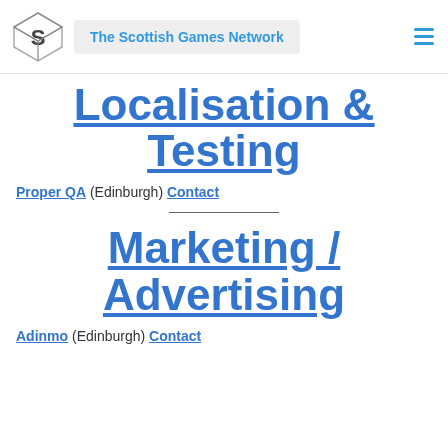The Scottish Games Network
Localisation & Testing
Proper QA (Edinburgh) Contact
Marketing / Advertising
Adinmo (Edinburgh) Contact